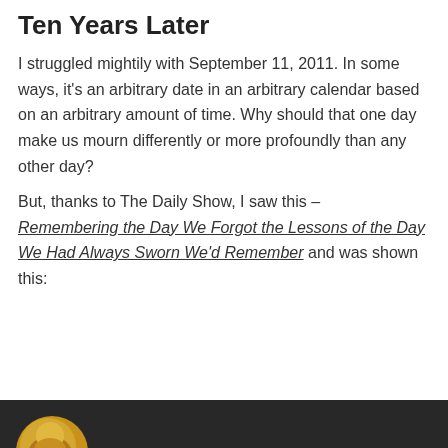Ten Years Later
I struggled mightily with September 11, 2011. In some ways, it’s an arbitrary date in an arbitrary calendar based on an arbitrary amount of time. Why should that one day make us mourn differently or more profoundly than any other day?
But, thanks to The Daily Show, I saw this – Remembering the Day We Forgot the Lessons of the Day We Had Always Sworn We’d Remember and was shown this:
[Figure (photo): Dark background image showing a partial circular golden/yellow figure or graphic in the lower left corner, resembling a person or character.]